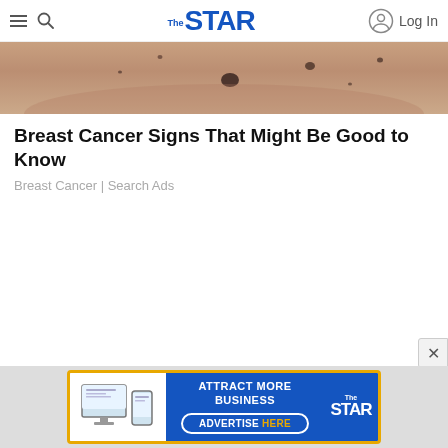THE STAR — Log In
[Figure (photo): Close-up photograph of skin showing breast area with several dark spots/moles visible against pale skin tone]
Breast Cancer Signs That Might Be Good to Know
Breast Cancer | Search Ads
[Figure (infographic): Advertisement banner: ATTRACT MORE BUSINESS — ADVERTISE HERE. Shows The Star logo with monitor and phone devices on left.]